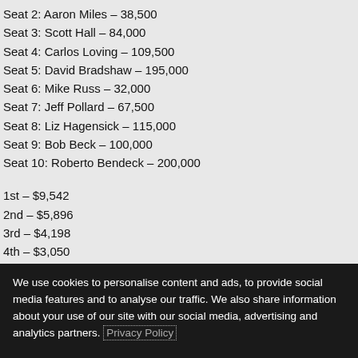Seat 2: Aaron Miles – 38,500
Seat 3: Scott Hall – 84,000
Seat 4: Carlos Loving – 109,500
Seat 5: David Bradshaw – 195,000
Seat 6: Mike Russ – 32,000
Seat 7: Jeff Pollard – 67,500
Seat 8: Liz Hagensick – 115,000
Seat 9: Bob Beck – 100,000
Seat 10: Roberto Bendeck – 200,000
1st – $9,542
2nd – $5,896
3rd – $4,198
4th – $3,050
5th – $2,259
We use cookies to personalise content and ads, to provide social media features and to analyse our traffic. We also share information about your use of our site with our social media, advertising and analytics partners. Privacy Policy